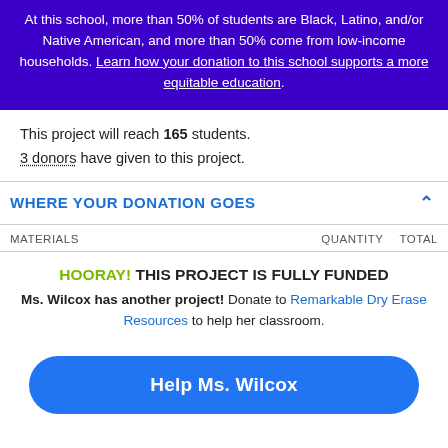At this school, more than 50% of students are Black, Latino, and/or Native American, and more than 50% come from low-income households. Learn how your donation to this school supports a more equitable education.
This project will reach 165 students.
3 donors have given to this project.
WHERE YOUR DONATION GOES
| MATERIALS | QUANTITY | TOTAL |
| --- | --- | --- |
HOORAY! THIS PROJECT IS FULLY FUNDED
Ms. Wilcox has another project! Donate to Remarkable Dry Erase Resources to help her classroom.
Help Ms. Wilcox